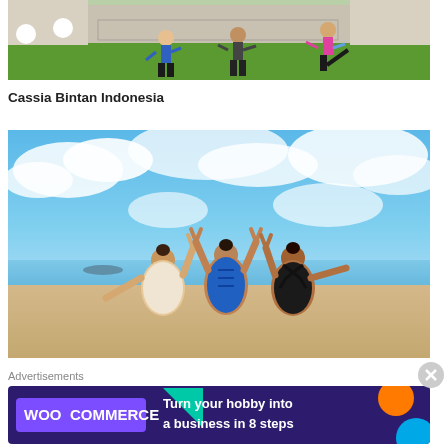[Figure (photo): People doing an aerobic/exercise class on a green lawn outside a building, three women in athletic wear doing a kicking move]
Cassia Bintan Indonesia
[Figure (photo): Three women in swimsuits sitting on a sandy beach with their backs to the camera, arms raised making peace signs, blue sky with clouds in the background]
Advertisements
[Figure (infographic): WooCommerce advertisement banner: 'Turn your hobby into a business in 8 steps' with colorful geometric shapes on dark purple background]